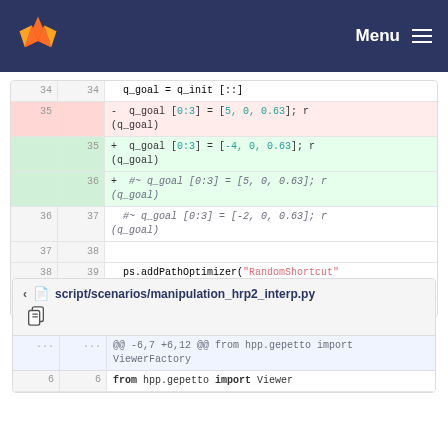Menu
[Figure (screenshot): GitLab code diff view showing changes to a Python script. Lines 34-38 (old) and 34-39 (new) with additions and removals of q_goal array assignments and ps.addPathOptimizer call.]
script/scenarios/manipulation_hrp2_interp.py
@@ -6,7 +6,12 @@ from hpp.gepetto import ViewerFactory
from hpp.gepetto import Viewer